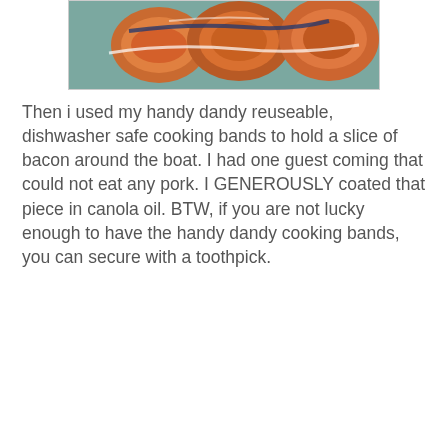[Figure (photo): Close-up photo of sliced food items (appears to be sweet potato or squash pieces) with orange and brown tones, arranged on a teal/green surface.]
Then i used my handy dandy reuseable, dishwasher safe cooking bands to hold a slice of bacon around the boat. I had one guest coming that could not eat any pork. I GENEROUSLY coated that piece in canola oil. BTW, if you are not lucky enough to have the handy dandy cooking bands, you can secure with a toothpick.